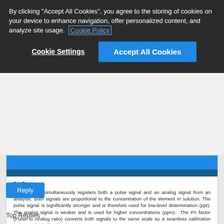By clicking "Accept All Cookies", you agree to the storing of cookies on your device to enhance navigation, offer personalized content, and analyze site usage. Cookie Policy
Cookie Settings
Accept All Cookies
PA Factors
The detector simultaneously registers both a pulse signal and an analog signal from an analysis. Both signals are proportional to the concentration of the element in solution. The pulse signal is significantly stronger and is therefore used for low-level determination (ppt). The analog signal is weaker and is used for higher concentrations (ppm). The PA factor (Pulse to Analog ratio) converts both signals to the same scale so a seamless calibration curve can be built using them.
PA Factor at StartUp
This automated startup procedure generates the PA Factors from a prepared solution containing the masses selected. These factors are then used to extrapolate factors for those elements/masses not found in the solution.
Reply
Top Replies